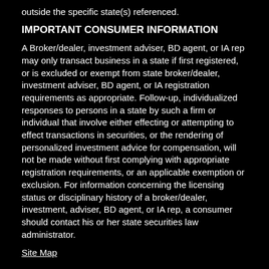outside the specific state(s) referenced.
IMPORTANT CONSUMER INFORMATION
A Broker/dealer, investment adviser, BD agent, or IA rep may only transact business in a state if first registered, or is excluded or exempt from state broker/dealer, investment adviser, BD agent, or IA registration requirements as appropriate. Follow-up, individualized responses to persons in a state by such a firm or individual that involve either effecting or attempting to effect transactions in securities, or the rendering of personalized investment advice for compensation, will not be made without first complying with appropriate registration requirements, or an applicable exemption or exclusion. For information concerning the licensing status or disciplinary history of a broker/dealer, investment, adviser, BD agent, or IA rep, a consumer should contact his or her state securities law administrator.
Site Map